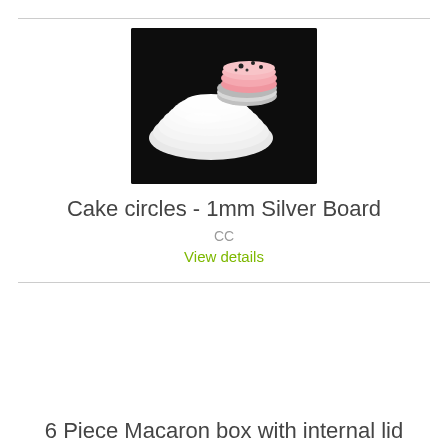[Figure (photo): Photograph of cake circles (1mm silver board) — stacked circular disc shapes on a dark background with a pink decorated item on top]
Cake circles - 1mm Silver Board
CC
View details
6 Piece Macaron box with internal lid